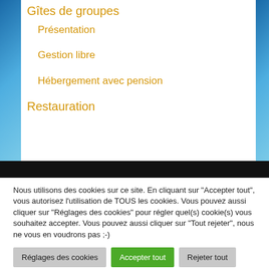Gîtes de groupes
Présentation
Gestion libre
Hébergement avec pension
Restauration
Nous utilisons des cookies sur ce site. En cliquant sur "Accepter tout", vous autorisez l'utilisation de TOUS les cookies. Vous pouvez aussi cliquer sur "Réglages des cookies" pour régler quel(s) cookie(s) vous souhaitez accepter. Vous pouvez aussi cliquer sur "Tout rejeter", nous ne vous en voudrons pas ;-)